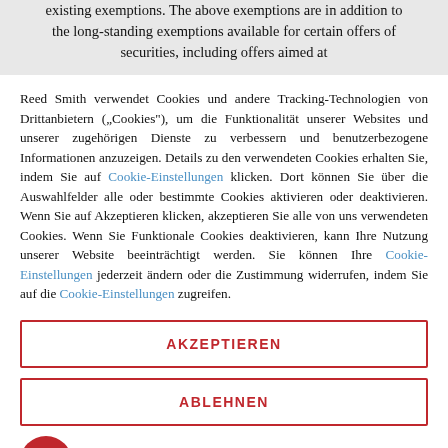existing exemptions. The above exemptions are in addition to the long-standing exemptions available for certain offers of securities, including offers aimed at
Reed Smith verwendet Cookies und andere Tracking-Technologien von Drittanbietern („Cookies“), um die Funktionalität unserer Websites und unserer zugehörigen Dienste zu verbessern und benutzerbezogene Informationen anzuzeigen. Details zu den verwendeten Cookies erhalten Sie, indem Sie auf Cookie-Einstellungen klicken. Dort können Sie über die Auswahlfelder alle oder bestimmte Cookies aktivieren oder deaktivieren. Wenn Sie auf Akzeptieren klicken, akzeptieren Sie alle von uns verwendeten Cookies. Wenn Sie Funktionale Cookies deaktivieren, kann Ihre Nutzung unserer Website beeinträchtigt werden. Sie können Ihre Cookie-Einstellungen jederzeit ändern oder die Zustimmung widerrufen, indem Sie auf die Cookie-Einstellungen zugreifen.
AKZEPTIEREN
ABLEHNEN
[Figure (logo): Usercentrics logo with dots and text]